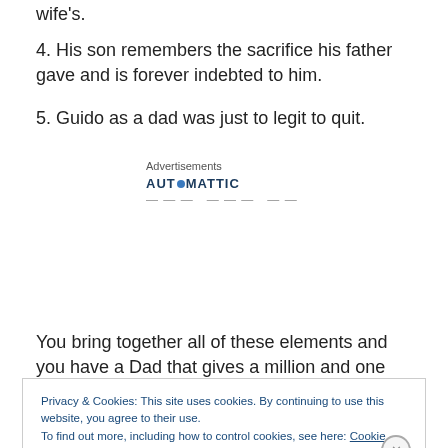wife's.
4. His son remembers the sacrifice his father gave and is forever indebted to him.
5. Guido as a dad was just to legit to quit.
[Figure (other): Advertisements block with Automattic logo and partially visible text]
You bring together all of these elements and you have a Dad that gives a million and one percent. For sure. And,
Privacy & Cookies: This site uses cookies. By continuing to use this website, you agree to their use.
To find out more, including how to control cookies, see here: Cookie Policy
Close and accept